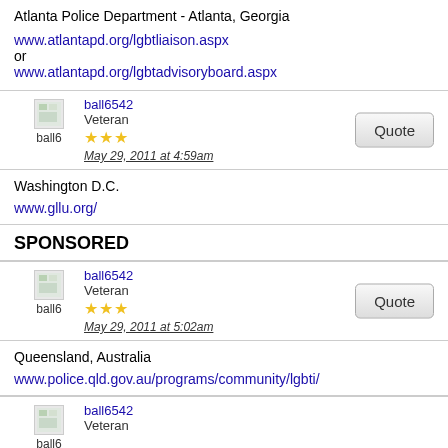Atlanta Police Department - Atlanta, Georgia
www.atlantapd.org/lgbtliaison.aspx
or
www.atlantapd.org/lgbtadvisoryboard.aspx
ball6542
Veteran
May 29, 2011 at 4:59am
Washington D.C.
www.gllu.org/
SPONSORED
ball6542
Veteran
May 29, 2011 at 5:02am
Queensland, Australia
www.police.qld.gov.au/programs/community/lgbti/
ball6542
Veteran